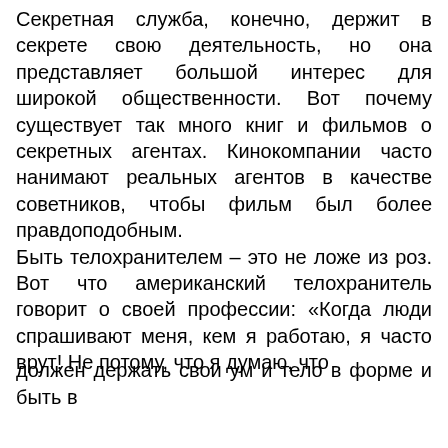Секретная служба, конечно, держит в секрете свою деятельность, но она представляет большой интерес для широкой общественности. Вот почему существует так много книг и фильмов о секретных агентах. Кинокомпании часто нанимают реальных агентов в качестве советников, чтобы фильм был более правдоподобным.
Быть телохранителем – это не ложе из роз. Вот что американский телохранитель говорит о своей профессии: «Когда люди спрашивают меня, кем я работаю, я часто врут! Не потому, что я думаю, что ... и, но много дите, Моя пить двух и, к мой это я должен держать свои ум и тело в форме и быть в
[Figure (screenshot): Cookie consent overlay banner with black background, text 'This website uses cookies to ensure you get the best experience on our website.', a 'Privacy Policy' underlined link, and a yellow 'Got it!' button.]